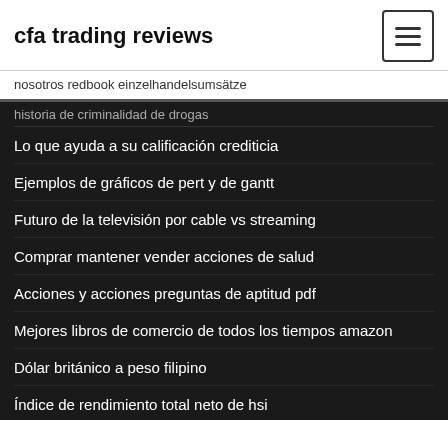cfa trading reviews
nosotros redbook einzelhandelsumsätze
historia de criminalidad de drogas (partial, cut off)
Lo que ayuda a su calificación crediticia
Ejemplos de gráficos de pert y de gantt
Futuro de la televisión por cable vs streaming
Comprar mantener vender acciones de salud
Acciones y acciones preguntas de aptitud pdf
Mejores libros de comercio de todos los tiempos amazon
Dólar británico a peso filipino
Índice de rendimiento total neto de hsi
Mejor momento para operar en forex en europa
Historia que perforó los primeros pozos petroleros europeos en (partial, cut off)